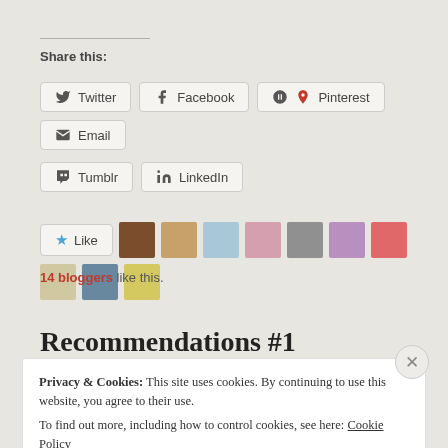Share this:
Twitter
Facebook
Pinterest
Email
Tumblr
LinkedIn
[Figure (other): Like button with star icon and 10 blogger avatar thumbnails]
14 bloggers like this.
Recommendations #1
Privacy & Cookies: This site uses cookies. By continuing to use this website, you agree to their use.
To find out more, including how to control cookies, see here: Cookie Policy
Close and accept